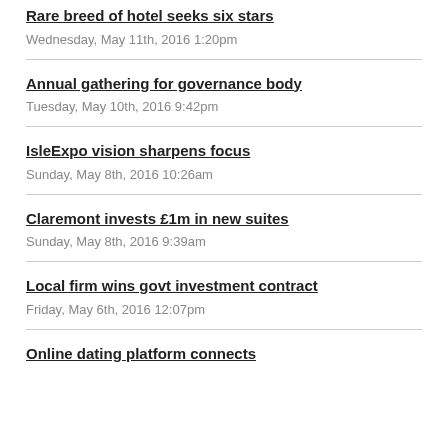Rare breed of hotel seeks six stars
Wednesday, May 11th, 2016 1:20pm
Annual gathering for governance body
Tuesday, May 10th, 2016 9:42pm
IsleExpo vision sharpens focus
Sunday, May 8th, 2016 10:26am
Claremont invests £1m in new suites
Sunday, May 8th, 2016 9:39am
Local firm wins govt investment contract
Friday, May 6th, 2016 12:07pm
Online dating platform connects